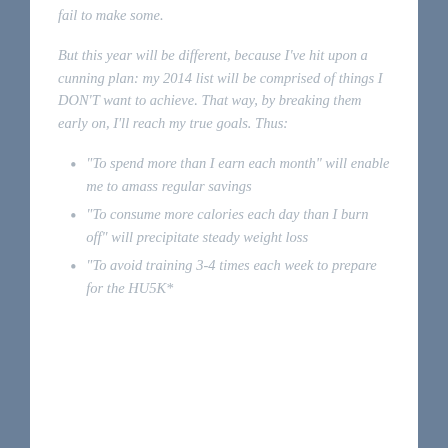fail to make some.
But this year will be different, because I've hit upon a cunning plan: my 2014 list will be comprised of things I DON'T want to achieve. That way, by breaking them early on, I'll reach my true goals. Thus:
“To spend more than I earn each month” will enable me to amass regular savings
“To consume more calories each day than I burn off” will precipitate steady weight loss
“To avoid training 3-4 times each week to prepare for the HU5K*